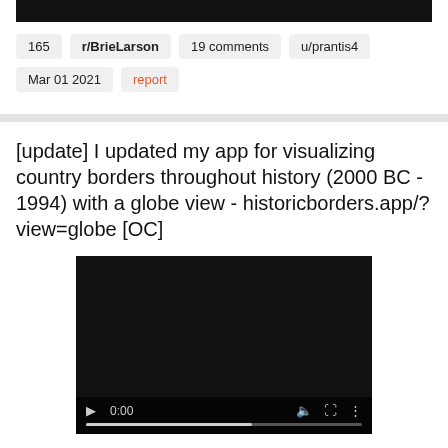[Figure (screenshot): Black bar at top of first card (video thumbnail cropped)]
165  r/BrieLarson  19 comments  u/prantis4
Mar 01 2021  report
[update] I updated my app for visualizing country borders throughout history (2000 BC - 1994) with a globe view - historicborders.app/?view=globe [OC]
[Figure (screenshot): Video player with dark background, showing controls: play button, 0:00 timestamp, volume icon, fullscreen icon, more options icon, and a progress bar at bottom]
196  r/dataisbeautiful  17 comments  u/nrgapple